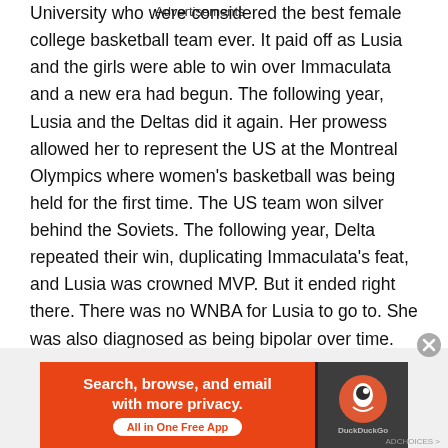University who were considered the best female college basketball team ever. It paid off as Lusia and the girls were able to win over Immaculata and a new era had begun. The following year, Lusia and the Deltas did it again. Her prowess allowed her to represent the US at the Montreal Olympics where women's basketball was being held for the first time. The US team won silver behind the Soviets. The following year, Delta repeated their win, duplicating Immaculata's feat, and Lusia was crowned MVP. But it ended right there. There was no WNBA for Lusia to go to. She was also diagnosed as being bipolar over time. She was offered to play for an NBA team and was offered big publicity, but she turned it down. Instead she devoted her life to administration at Delta State, coaching and teaching. She
Advertisements
[Figure (other): DuckDuckGo advertisement banner: orange left panel with text 'Search, browse, and email with more privacy. All in One Free App' and dark right panel with DuckDuckGo logo]